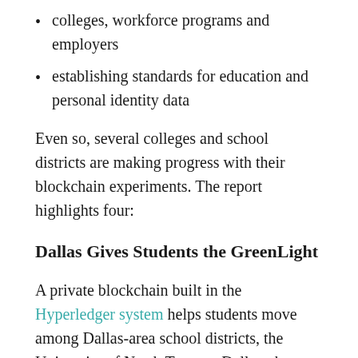colleges, workforce programs and employers
establishing standards for education and personal identity data
Even so, several colleges and school districts are making progress with their blockchain experiments. The report highlights four:
Dallas Gives Students the GreenLight
A private blockchain built in the Hyperledger system helps students move among Dallas-area school districts, the University of North Texas at Dallas, the seven-institution Dallas Community College District and jobs. Called GreenLight, the ledger gives students access to their credential materials, such as